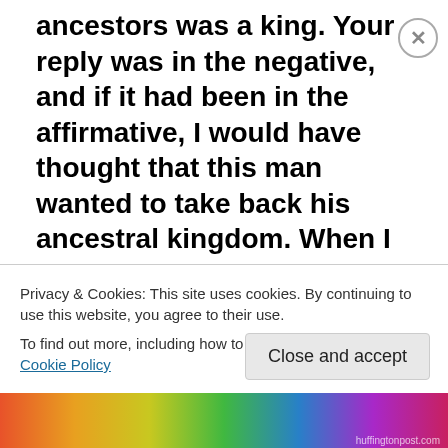ancestors was a king. Your reply was in the negative, and if it had been in the affirmative, I would have thought that this man wanted to take back his ancestral kingdom. When I asked you whether the rich or the poor people followed him, you replied that it was the poor who followed him. In fact, such are the followers of the apostles. Then I asked you whether his followers were increasing or decreasing. You replied that they were increasing. In fact, this is the result of true faith till it is complete (in all respects). I asked you whether there was anybody who, after
Privacy & Cookies: This site uses cookies. By continuing to use this website, you agree to their use.
To find out more, including how to control cookies, see here: Cookie Policy
Close and accept